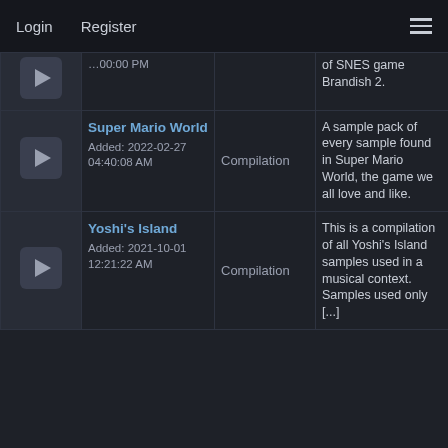Login   Register   ☰
|  | Name / Added | Type | Description | User |
| --- | --- | --- | --- | --- |
| [play] | [truncated] PM |  | of SNES game Brandish 2. |  |
| [play] | Super Mario World
Added: 2022-02-27 04:40:08 AM | Compilation | A sample pack of every sample found in Super Mario World, the game we all love and like. | MarioFa |
| [play] | Yoshi's Island
Added: 2021-10-01 12:21:22 AM | Compilation | This is a compilation of all Yoshi's Island samples used in a musical context. Samples used only [...] | Marcoz |